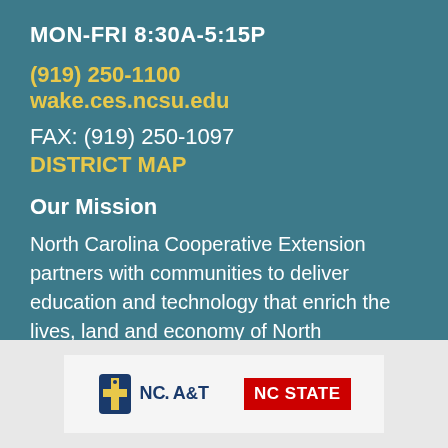MON-FRI 8:30A-5:15P
(919) 250-1100
wake.ces.ncsu.edu
FAX: (919) 250-1097
DISTRICT MAP
Our Mission
North Carolina Cooperative Extension partners with communities to deliver education and technology that enrich the lives, land and economy of North Carolinians.
[Figure (logo): NC A&T and NC State university logos side by side in a light gray panel]